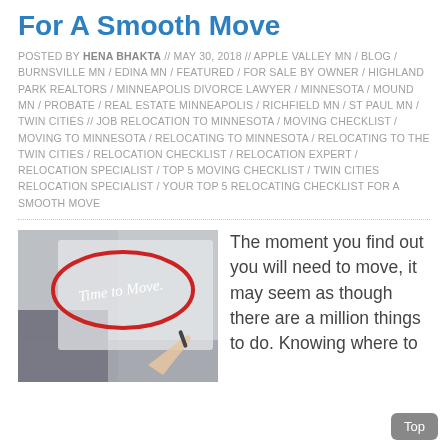For A Smooth Move
POSTED BY HENA BHAKTA // MAY 30, 2018 // APPLE VALLEY MN / BLOG / BURNSVILLE MN / EDINA MN / FEATURED / FOR SALE BY OWNER / HIGHLAND PARK REALTORS / MINNEAPOLIS DIVORCE LAWYER / MINNESOTA / MOUND MN / PROBATE / REAL ESTATE MINNEAPOLIS / RICHFIELD MN / ST PAUL MN / TWIN CITIES // JOB RELOCATION TO MINNESOTA / MOVING CHECKLIST / MOVING TO MINNESOTA / RELOCATING TO MINNESOTA / RELOCATING TO THE TWIN CITIES / RELOCATION CHECKLIST / RELOCATION EXPERT / RELOCATION SPECIALIST / TOP 5 MOVING CHECKLIST / TWIN CITIES RELOCATION SPECIALIST / YOUR TOP 5 RELOCATING CHECKLIST FOR A SMOOTH MOVE
[Figure (photo): Photo of a hand writing 'Time to Move' on a surface with a red oval drawn around it]
The moment you find out you will need to move, it may seem as though there are a million things to do. Knowing where to